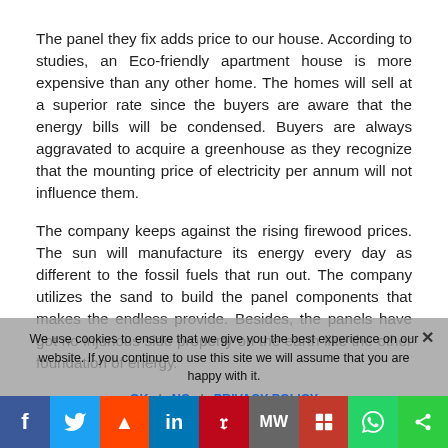The panel they fix adds price to our house. According to studies, an Eco-friendly apartment house is more expensive than any other home. The homes will sell at a superior rate since the buyers are aware that the energy bills will be condensed. Buyers are always aggravated to acquire a greenhouse as they recognize that the mounting price of electricity per annum will not influence them.
The company keeps against the rising firewood prices. The sun will manufacture its energy every day as different to the fossil fuels that run out. The company utilizes the sand to build the panel components that makes the endless provide. Besides, the panels have got no injurious side property on the earth like the other foundation of energy.
This kind of power is very consistent. It has been...
We use cookies to ensure that we give you the best experience on our website. If you continue to use this site we will assume that you are happy with it.
f  Twitter  Reddit  in  Pinterest  MW  Mix  WhatsApp  Share